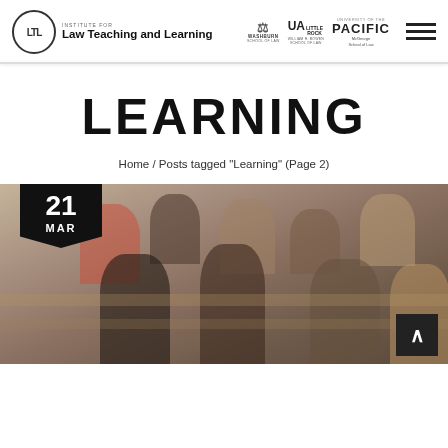Institute for Law Teaching and Learning | Washburn School of Law | UA Little Rock William H. Bowen School of Law | University of the Pacific McGeorge School of Law
LEARNING
Home / Posts tagged "Learning" (Page 2)
[Figure (photo): Group of people sitting at tables in a classroom or workshop setting, engaged in discussion. A date badge shows '21 MAR' in the bottom-left corner of the image area.]